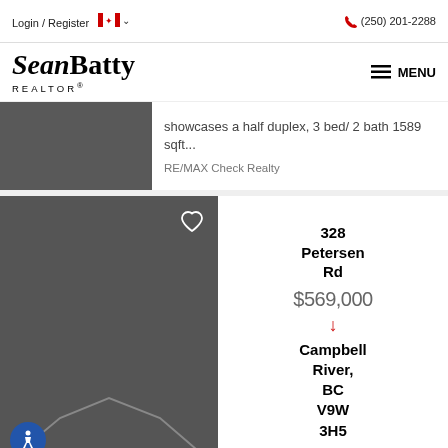Login / Register  (250) 201-2288
[Figure (logo): SeanBatty REALTOR® logo with hamburger menu and MENU text]
showcases a half duplex, 3 bed/ 2 bath 1589 sqft...
RE/MAX Check Realty
328 Petersen Rd Campbell River, BC V9W 3H5
$569,000 ↓